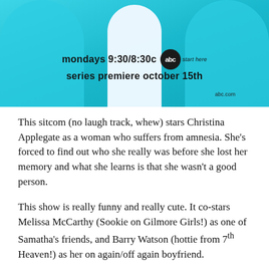[Figure (photo): Promotional image for an ABC sitcom showing a woman in a white dress with teal/cyan background. Text reads 'mondays 9:30/8:30c' and 'series premiere october 15th' with the ABC logo and abc.com URL.]
This sitcom (no laugh track, whew) stars Christina Applegate as a woman who suffers from amnesia. She's forced to find out who she really was before she lost her memory and what she learns is that she wasn't a good person.
This show is really funny and really cute. It co-stars Melissa McCarthy (Sookie on Gilmore Girls!) as one of Samatha's friends, and Barry Watson (hottie from 7th Heaven!) as her on again/off again boyfriend.
The cast of this show just works together really well and the episodes have that perfect mixture of funny and